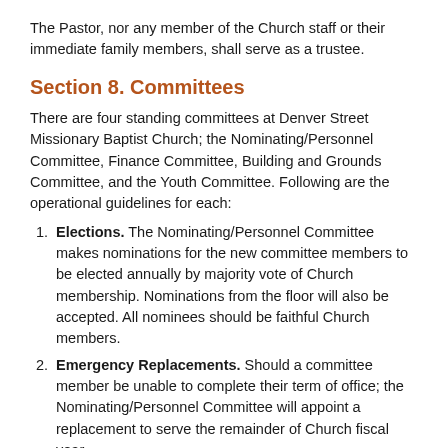The Pastor, nor any member of the Church staff or their immediate family members, shall serve as a trustee.
Section 8. Committees
There are four standing committees at Denver Street Missionary Baptist Church; the Nominating/Personnel Committee, Finance Committee, Building and Grounds Committee, and the Youth Committee. Following are the operational guidelines for each:
Elections. The Nominating/Personnel Committee makes nominations for the new committee members to be elected annually by majority vote of Church membership. Nominations from the floor will also be accepted. All nominees should be faithful Church members.
Emergency Replacements. Should a committee member be unable to complete their term of office; the Nominating/Personnel Committee will appoint a replacement to serve the remainder of Church fiscal year.
Size. Committees vary in size and are assigned herein as deemed appropriate for the committee